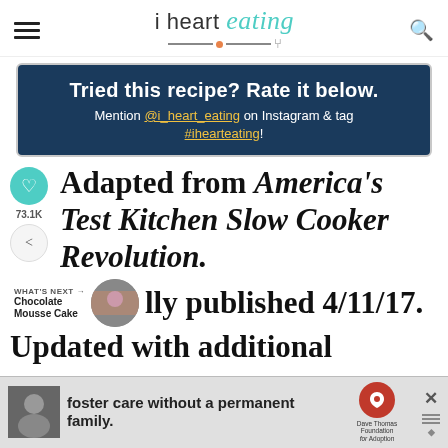i heart eating
[Figure (infographic): Dark navy banner with text: Tried this recipe? Rate it below. Mention @i_heart_eating on Instagram & tag #ihearteating!]
Adapted from America's Test Kitchen Slow Cooker Revolution.
Originally published 4/11/17.
Updated with additional
[Figure (infographic): Ad banner: foster care without a permanent family. Dave Thomas Foundation for Adoption logo.]